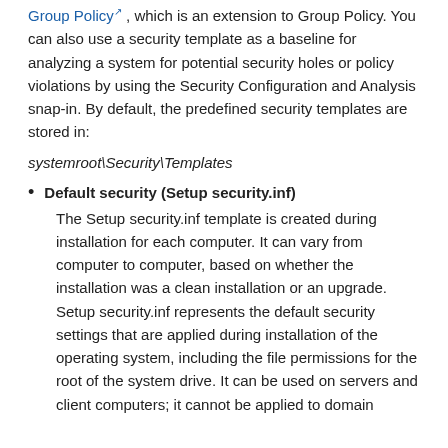Group Policy , which is an extension to Group Policy. You can also use a security template as a baseline for analyzing a system for potential security holes or policy violations by using the Security Configuration and Analysis snap-in. By default, the predefined security templates are stored in:
systemroot\Security\Templates
Default security (Setup security.inf)
The Setup security.inf template is created during installation for each computer. It can vary from computer to computer, based on whether the installation was a clean installation or an upgrade. Setup security.inf represents the default security settings that are applied during installation of the operating system, including the file permissions for the root of the system drive. It can be used on servers and client computers; it cannot be applied to domain